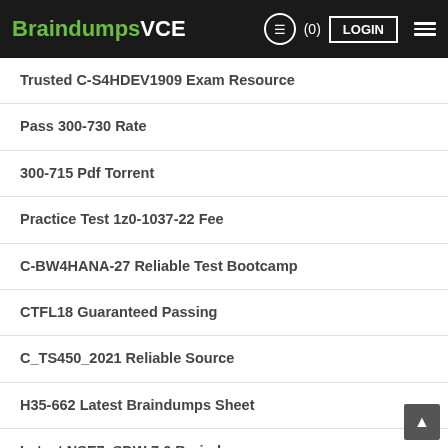BraindumpsVCE (0) LOGIN
Trusted C-S4HDEV1909 Exam Resource
Pass 300-730 Rate
300-715 Pdf Torrent
Practice Test 1z0-1037-22 Fee
C-BW4HANA-27 Reliable Test Bootcamp
CTFL18 Guaranteed Passing
C_TS450_2021 Reliable Source
H35-662 Latest Braindumps Sheet
Latest NSE7_SDW-7.0 Braindumps
Study C_S4CS_2208 Materials